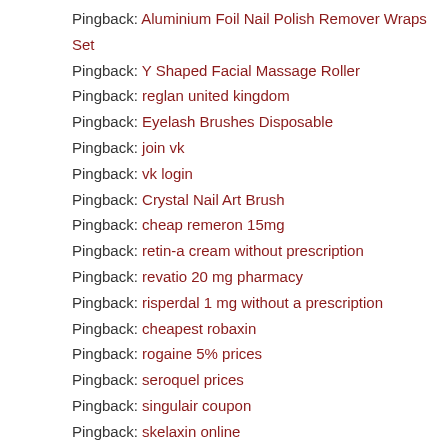Pingback: Aluminium Foil Nail Polish Remover Wraps Set
Pingback: Y Shaped Facial Massage Roller
Pingback: reglan united kingdom
Pingback: Eyelash Brushes Disposable
Pingback: join vk
Pingback: vk login
Pingback: Crystal Nail Art Brush
Pingback: cheap remeron 15mg
Pingback: retin-a cream without prescription
Pingback: revatio 20 mg pharmacy
Pingback: risperdal 1 mg without a prescription
Pingback: cheapest robaxin
Pingback: rogaine 5% prices
Pingback: seroquel prices
Pingback: singulair coupon
Pingback: skelaxin online
Pingback: spiriva 9 mcg without a doctor prescription
Pingback: how to buy tenormin
Pingback: thorazine 50 mg australia
Pingback: order toprol 100mg
Pingback: tricor 160 mg usa
Pingback: valtrex 500 mg cheap
Pingback: verapamil generic